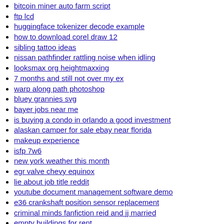bitcoin miner auto farm script
ftp lcd
huggingface tokenizer decode example
how to download corel draw 12
sibling tattoo ideas
nissan pathfinder rattling noise when idling
looksmax org heightmaxxing
7 months and still not over my ex
warp along path photoshop
bluey grannies svg
bayer jobs near me
is buying a condo in orlando a good investment
alaskan camper for sale ebay near florida
makeup experience
isfp 7w6
new york weather this month
egr valve chevy equinox
lie about job title reddit
youtube document management software demo
e36 crankshaft position sensor replacement
criminal minds fanfiction reid and jj married
empty buildings for rent
1979 ford truck models
sketchy soundfont
hayseed fnf